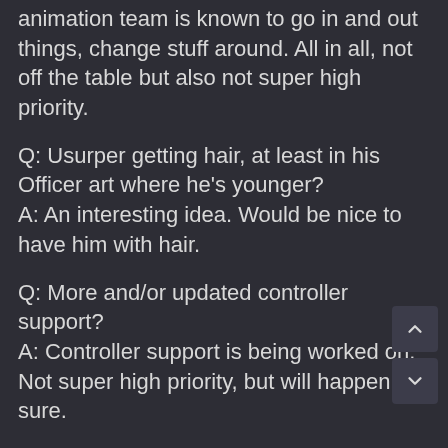animation team is known to go in and out things, change stuff around. All in all, not off the table but also not super high priority.
Q: Usurper getting hair, at least in his Officer art where he's younger?
A: An interesting idea. Would be nice to have him with hair.
Q: More and/or updated controller support?
A: Controller support is being worked on. Not super high priority, but will happen for sure.
Q: Is there a chance for a real event in the game (e.g. faction challenge or similar)?
A: Faction challenges would be cool to have again, but they would need to have a different format to make them more interesting than they